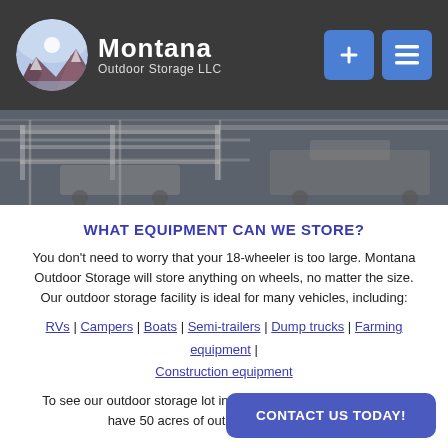Montana Outdoor Storage LLC
[Figure (photo): Hero image showing trucks and equipment stored outdoors, metal racks visible]
WHAT EQUIPMENT CAN WE STORE?
You don't need to worry that your 18-wheeler is too large. Montana Outdoor Storage will store anything on wheels, no matter the size. Our outdoor storage facility is ideal for many vehicles, including:
RVs | Campers | Boats | Semi-trailers | Dump trucks | Farming equipment | Construction equipment
To see our outdoor storage lot in Billings, MT, visit us today. We have 50 acres of outdoor storage space.
CONTACT US TODAY!